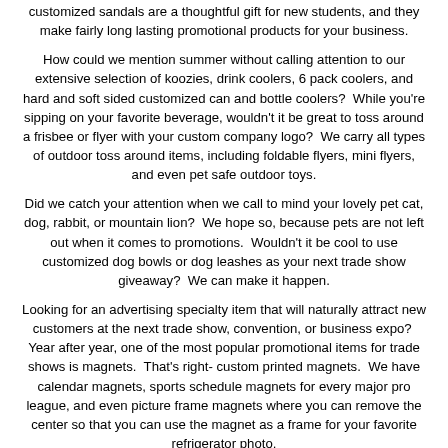customized sandals are a thoughtful gift for new students, and they make fairly long lasting promotional products for your business.
How could we mention summer without calling attention to our extensive selection of koozies, drink coolers, 6 pack coolers, and hard and soft sided customized can and bottle coolers?  While you're sipping on your favorite beverage, wouldn't it be great to toss around a frisbee or flyer with your custom company logo?  We carry all types of outdoor toss around items, including foldable flyers, mini flyers, and even pet safe outdoor toys.
Did we catch your attention when we call to mind your lovely pet cat, dog, rabbit, or mountain lion?  We hope so, because pets are not left out when it comes to promotions.  Wouldn't it be cool to use customized dog bowls or dog leashes as your next trade show giveaway?  We can make it happen.
Looking for an advertising specialty item that will naturally attract new customers at the next trade show, convention, or business expo?  Year after year, one of the most popular promotional items for trade shows is magnets.  That's right- custom printed magnets.  We have calendar magnets, sports schedule magnets for every major pro league, and even picture frame magnets where you can remove the center so that you can use the magnet as a frame for your favorite refrigerator photo.
Perhaps while you are at the fridge admiring your family photos, you become a bit thirsty, and you are not quite the type of person who drinks directly out of the jug of orange juice.  You need something into which you will pour your favorite beverage, and of course you want your logo to be on the item because you are proud of the business that you have built.